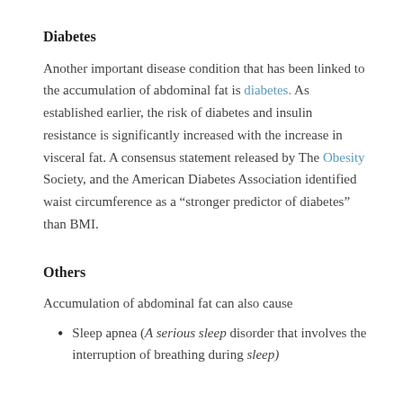Diabetes
Another important disease condition that has been linked to the accumulation of abdominal fat is diabetes. As established earlier, the risk of diabetes and insulin resistance is significantly increased with the increase in visceral fat. A consensus statement released by The Obesity Society, and the American Diabetes Association identified waist circumference as a “stronger predictor of diabetes” than BMI.
Others
Accumulation of abdominal fat can also cause
Sleep apnea (A serious sleep disorder that involves the interruption of breathing during sleep)